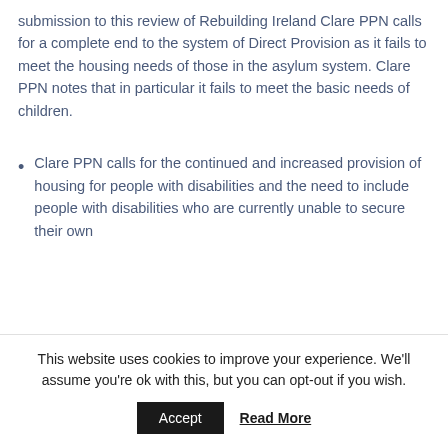submission to this review of Rebuilding Ireland Clare PPN calls for a complete end to the system of Direct Provision as it fails to meet the housing needs of those in the asylum system. Clare PPN notes that in particular it fails to meet the basic needs of children.
Clare PPN calls for the continued and increased provision of housing for people with disabilities and the need to include people with disabilities who are currently unable to secure their own
This website uses cookies to improve your experience. We'll assume you're ok with this, but you can opt-out if you wish.